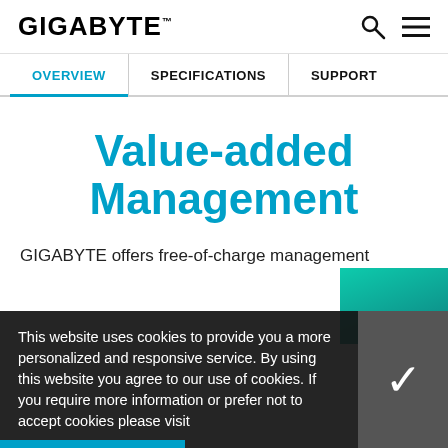GIGABYTE™
OVERVIEW | SPECIFICATIONS | SUPPORT
Value-added Management
GIGABYTE offers free-of-charge management software dedicated to processor built on
This website uses cookies to provide you a more personalized and responsive service. By using this website you agree to our use of cookies. If you require more information or prefer not to accept cookies please visit